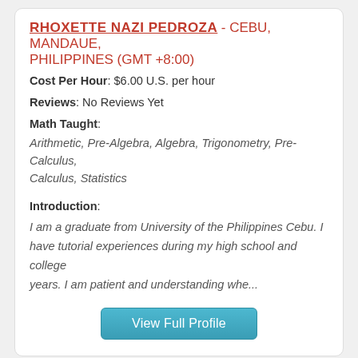RHOXETTE NAZI PEDROZA - CEBU, MANDAUE, PHILIPPINES (GMT +8:00)
Cost Per Hour: $6.00 U.S. per hour
Reviews: No Reviews Yet
Math Taught:
Arithmetic, Pre-Algebra, Algebra, Trigonometry, Pre-Calculus, Calculus, Statistics
Introduction:
I am a graduate from University of the Philippines Cebu. I have tutorial experiences during my high school and college years. I am patient and understanding whe...
[Figure (other): View Full Profile button - teal/cyan rounded button]
MAINAK GHOSH - PUNE, MAHARASHTRA, INDIA (GMT +5:30)